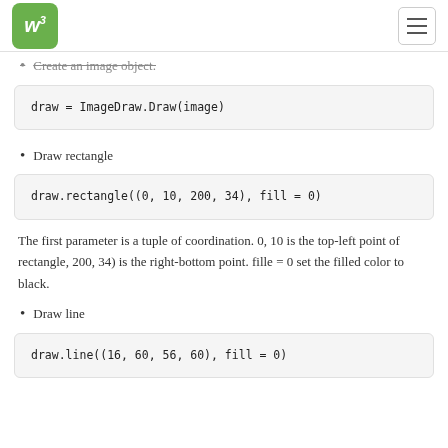W3schools logo and navigation
Create an image object.
draw = ImageDraw.Draw(image)
Draw rectangle
draw.rectangle((0, 10, 200, 34), fill = 0)
The first parameter is a tuple of coordination. 0, 10 is the top-left point of rectangle, 200, 34) is the right-bottom point. fille = 0 set the filled color to black.
Draw line
draw.line((16, 60, 56, 60), fill = 0)